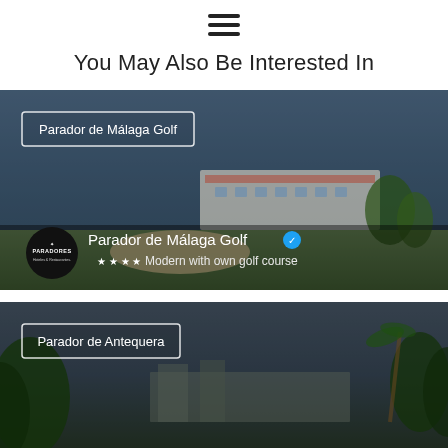≡ (hamburger menu)
You May Also Be Interested In
[Figure (photo): Parador de Málaga Golf hotel exterior with golf course in foreground, building visible in background, dark sky overlay. Card label reads 'Parador de Málaga Golf'. Bottom overlay shows Paradores logo, hotel name 'Parador de Málaga Golf' with blue verified checkmark, 4 stars, and tagline 'Modern with own golf course'.]
[Figure (photo): Parador de Antequera exterior with trees and dark sky. Card label reads 'Parador de Antequera'.]